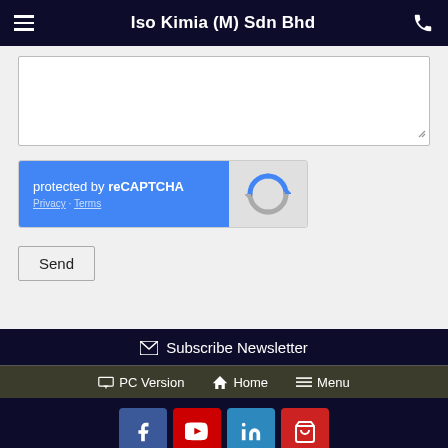Iso Kimia (M) Sdn Bhd
[Figure (screenshot): Text area input box for a contact form with resize handle]
[Figure (screenshot): reCAPTCHA widget with blue left panel showing 'protected by reCAPTCHA' and Privacy/Terms links, and grey right panel with reCAPTCHA logo]
Send
Subscribe Newsletter
PC Version  Home  Menu
[Figure (infographic): Social media icons: Facebook, YouTube, LinkedIn, and a shopping icon]
© 2016 - 2022 Iso Kimia (M) Sdn Bhd (609546-W) Privacy Policy Powered by NEWPAGES Visitors: 2615922